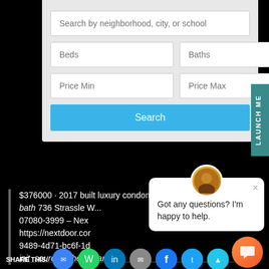[Figure (screenshot): Search form with fields: Search by neighborhood, city, or school; Beds; Baths; Price Min; Price Max; and a Search button]
$376000 · 2017 built luxury condominiums 2 bed bath 736 Strassle W... 07080-3999 – Next https://nextdoor.com 9489-4d71-bc6f-1d... init_source=other_share
[Figure (screenshot): Chat popup with avatar, close button, and message: Got any questions? I'm happy to help.]
SHARE THIS: